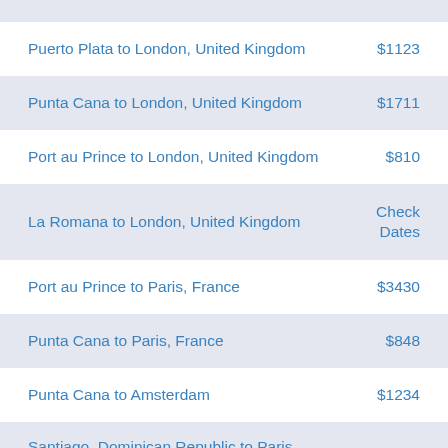Puerto Plata to London, United Kingdom  $1123
Punta Cana to London, United Kingdom  $1711
Port au Prince to London, United Kingdom  $810
La Romana to London, United Kingdom  Check Dates
Port au Prince to Paris, France  $3430
Punta Cana to Paris, France  $848
Punta Cana to Amsterdam  $1234
Santiago, Dominican Republic to Paris